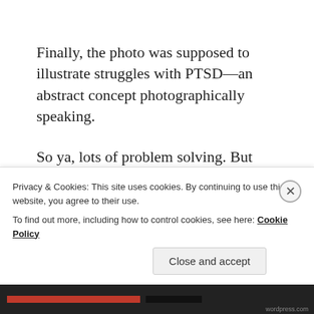Finally, the photo was supposed to illustrate struggles with PTSD—an abstract concept photographically speaking.
So ya, lots of problem solving. But that's sort of the fun part of my job. Even though it's always great (and preferred) that a shoot goes off without a hitch, the more difficult ones can be more rewarding.
So how do I do the problem solving? (the partial/faded text at bottom)
Privacy & Cookies: This site uses cookies. By continuing to use this website, you agree to their use.
To find out more, including how to control cookies, see here: Cookie Policy
Close and accept